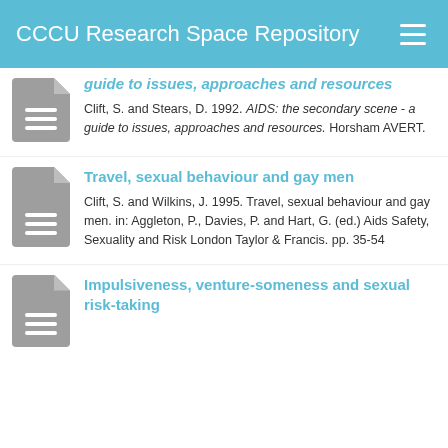CCCU Research Space Repository
guide to issues, approaches and resources
Clift, S. and Stears, D. 1992. AIDS: the secondary scene - a guide to issues, approaches and resources. Horsham AVERT.
Travel, sexual behaviour and gay men
Clift, S. and Wilkins, J. 1995. Travel, sexual behaviour and gay men. in: Aggleton, P., Davies, P. and Hart, G. (ed.) Aids Safety, Sexuality and Risk London Taylor & Francis. pp. 35-54
Impulsiveness, venture-some-ness and sexual risk-taking